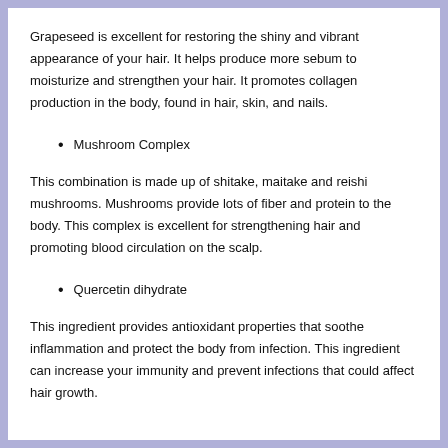Grapeseed is excellent for restoring the shiny and vibrant appearance of your hair. It helps produce more sebum to moisturize and strengthen your hair. It promotes collagen production in the body, found in hair, skin, and nails.
Mushroom Complex
This combination is made up of shitake, maitake and reishi mushrooms. Mushrooms provide lots of fiber and protein to the body. This complex is excellent for strengthening hair and promoting blood circulation on the scalp.
Quercetin dihydrate
This ingredient provides antioxidant properties that soothe inflammation and protect the body from infection. This ingredient can increase your immunity and prevent infections that could affect hair growth.